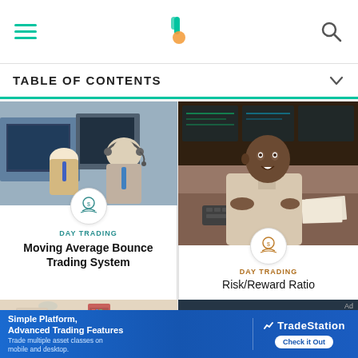TABLE OF CONTENTS
[Figure (photo): Two male traders at workstations with headsets and computers]
DAY TRADING
Moving Average Bounce Trading System
[Figure (photo): Black male trader smiling at keyboard in front of trading screens]
DAY TRADING
Risk/Reward Ratio
[Figure (photo): Blurred bookshelf and red cabinet background]
[Figure (photo): Dark screenshot of trading charts]
Simple Platform, Advanced Trading Features Trade multiple asset classes on mobile and desktop.
[Figure (logo): TradeStation logo with Check it Out button]